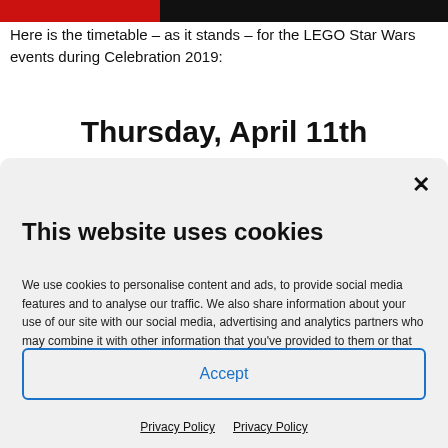[Figure (other): Header bar with black background and red section on the left]
Here is the timetable – as it stands – for the LEGO Star Wars events during Celebration 2019:
Thursday, April 11th
×
This website uses cookies
We use cookies to personalise content and ads, to provide social media features and to analyse our traffic. We also share information about your use of our site with our social media, advertising and analytics partners who may combine it with other information that you've provided to them or that they've collected from your use of their services.
Accept
Privacy Policy   Privacy Policy